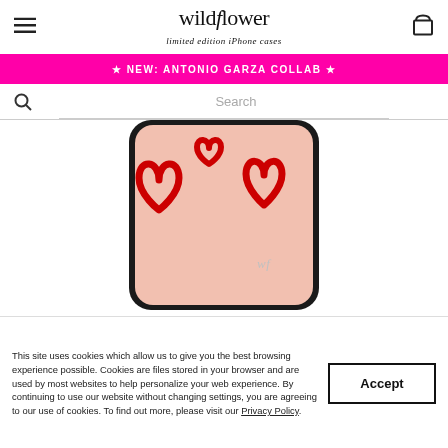wildflower limited edition iPhone cases
★ NEW: ANTONIO GARZA COLLAB ★
Search
[Figure (photo): Wildflower iPhone case product photo cropped view showing a phone case with red heart designs on a pink background and 'wf' logo in silver on the bottom right]
This site uses cookies which allow us to give you the best browsing experience possible. Cookies are files stored in your browser and are used by most websites to help personalize your web experience. By continuing to use our website without changing settings, you are agreeing to our use of cookies. To find out more, please visit our Privacy Policy.